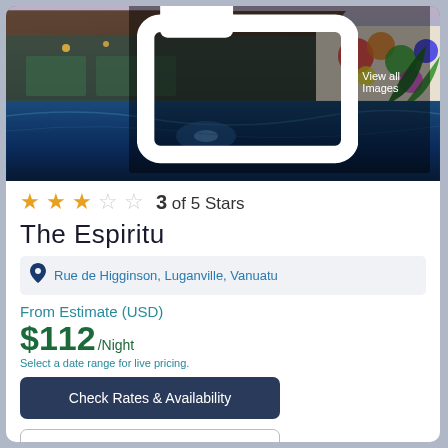[Figure (photo): Hotel pool area with thatched roof building at dusk, colorful mural on wall, tropical plants, blue tiled pool]
View all Images
3 of 5 Stars
The Espiritu
Rue de Higginson, Luganville, Vanuatu
From Estimate (USD)
$112/Night
Select a date range for live pricing.
Check Rates & Availability
Check-In: Select a date range
Check Out:Select a date ra